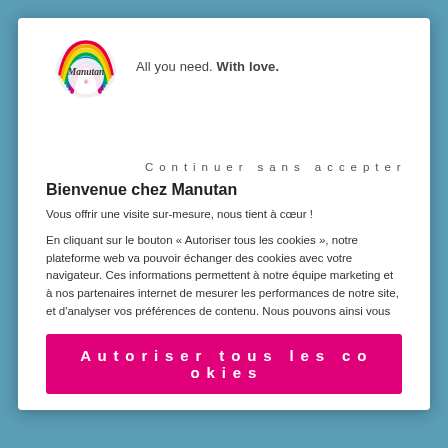[Figure (logo): Manutan colorful logo with tagline 'All you need. With love.']
Continuer sans accepter
Bienvenue chez Manutan
Vous offrir une visite sur-mesure, nous tient à cœur !
En cliquant sur le bouton « Autoriser tous les cookies », notre plateforme web va pouvoir échanger des cookies avec votre navigateur. Ces informations permettent à notre équipe marketing et à nos partenaires internet de mesurer les performances de notre site, et d'analyser vos préférences de contenu. Nous pouvons ainsi vous proposer des articles encore plus adaptés à vos besoins et de la publicité appropriée/personnalisée. Si vous souhaitez plus d'informations sur les finalités et choisir vos préférences par type de cookies, cliquez sur « Paramètres des cookies ».
Et si vous choisissez de continuer votre visite sans cookies, vous êtes le bienvenu aussi ! Pour en savoir plus, vous pouvez aussi consulter notre politique de cookies.
Autoriser tous les cookies